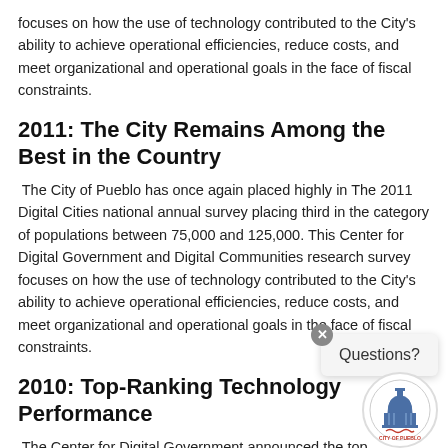focuses on how the use of technology contributed to the City's ability to achieve operational efficiencies, reduce costs, and meet organizational and operational goals in the face of fiscal constraints.
2011: The City Remains Among the Best in the Country
The City of Pueblo has once again placed highly in The 2011 Digital Cities national annual survey placing third in the category of populations between 75,000 and 125,000. This Center for Digital Government and Digital Communities research survey focuses on how the use of technology contributed to the City's ability to achieve operational efficiencies, reduce costs, and meet organizational and operational goals in the face of fiscal constraints.
2010: Top-Ranking Technology Performance
The Center for Digital Government announced the top